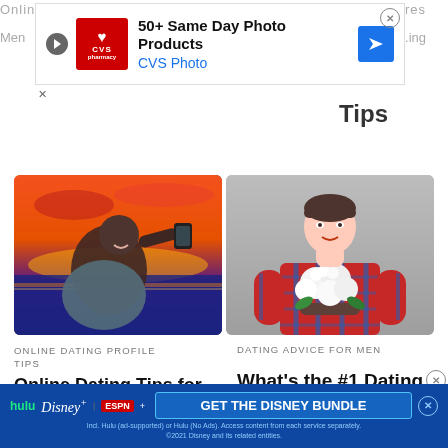[Figure (photo): CVS Pharmacy advertisement banner: 50+ Same Day Photo Products, CVS Photo]
Tips
[Figure (photo): Man taking a selfie at sunset with a phone, warm orange sky background]
[Figure (photo): Young man in plaid shirt holding white flowers against grey background]
ONLINE DATING PROFILE TIPS
DATING ADVICE FOR MEN
Online Dating Tips for
What's the #1 Dating
Men: G...
Ti...M...S...
[Figure (screenshot): Disney Bundle advertisement: Hulu, Disney+, ESPN+ - GET THE DISNEY BUNDLE]